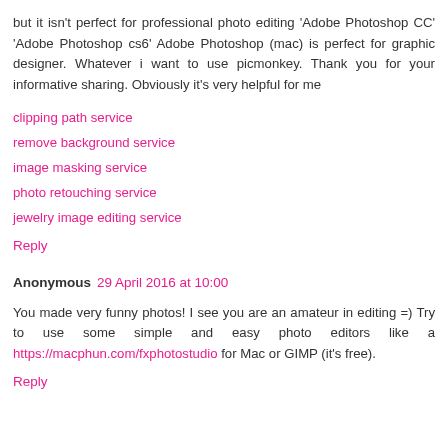but it isn't perfect for professional photo editing 'Adobe Photoshop CC' 'Adobe Photoshop cs6' Adobe Photoshop (mac) is perfect for graphic designer. Whatever i want to use picmonkey. Thank you for your informative sharing. Obviously it's very helpful for me
clipping path service
remove background service
image masking service
photo retouching service
jewelry image editing service
Reply
Anonymous  29 April 2016 at 10:00
You made very funny photos! I see you are an amateur in editing =) Try to use some simple and easy photo editors like a https://macphun.com/fxphotostudio for Mac or GIMP (it's free).
Reply